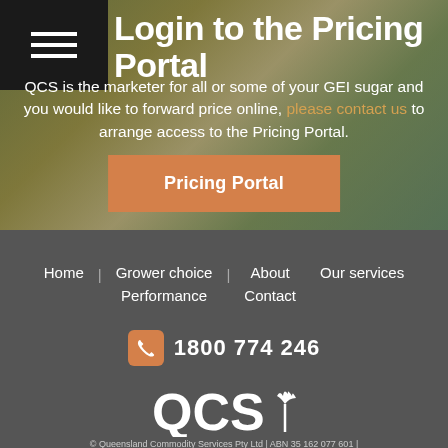Login to the Pricing Portal
QCS is the marketer for all or some of your GEI sugar and you would like to forward price online, please contact us to arrange access to the Pricing Portal.
Pricing Portal
Home
Grower choice
About
Our services
Performance
Contact
1800 774 246
[Figure (logo): QCS Queensland Commodity Services logo in white]
© Queensland Commodity Services Pty Ltd | ABN 35 162 077 601 |